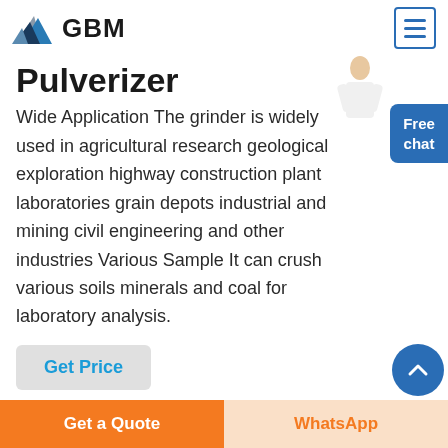GBM
Pulverizer
Wide Application The grinder is widely used in agricultural research geological exploration highway construction plant laboratories grain depots industrial and mining civil engineering and other industries Various Sample It can crush various soils minerals and coal for laboratory analysis.
Get Price
coal crusher price
Get a Quote | WhatsApp